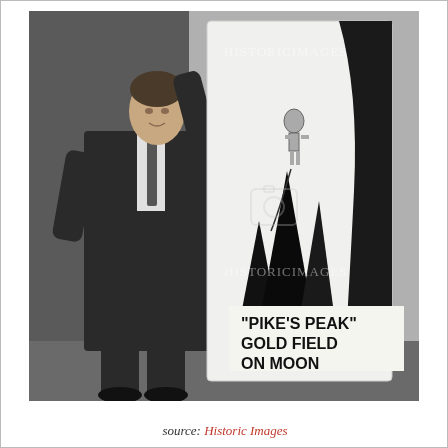[Figure (photo): Black and white photograph of a man in a suit and tie standing next to and touching a large illustrated poster or sign. The sign shows dark mountain peaks, a small figure of a person at the top, and text at the bottom reading "PIKE'S PEAK" GOLD FIELD ON MOON. The watermark 'HISTORICIMAGES' appears on the photo twice.]
source: Historic Images